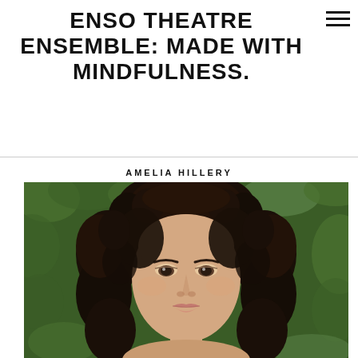ENSO THEATRE ENSEMBLE: MADE WITH MINDFULNESS.
AMELIA HILLERY
[Figure (photo): Headshot portrait of Amelia Hillery, a young woman with long curly dark hair, looking directly at the camera against a green leafy background.]